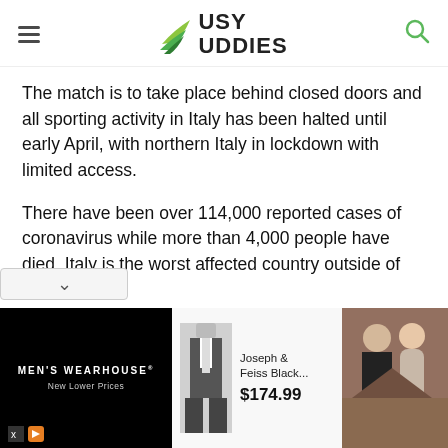Busy Buddies
The match is to take place behind closed doors and all sporting activity in Italy has been halted until early April, with northern Italy in lockdown with limited access.
There have been over 114,000 reported cases of coronavirus while more than 4,000 people have died. Italy is the worst affected country outside of China.
Atalanta's Curva Nord ultras group revealed the money that would have been spent on a trip to Spain has now given to hospitals in a bid to help serve those
[Figure (photo): Advertisement banner for Men's Wearhouse featuring a suit product (Joseph & Feiss Black...) priced at $174.99 and a couple in formal wear]